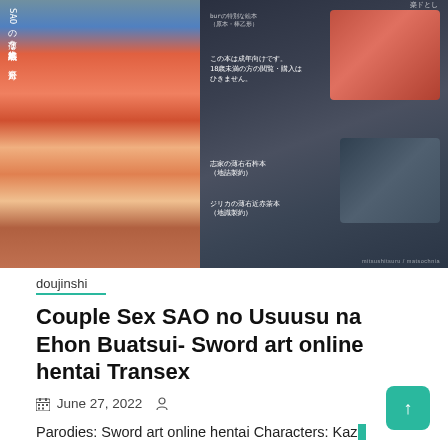[Figure (illustration): Anime/manga style doujinshi cover art showing characters on the left side with Japanese text, and character face close-ups on the right side with Japanese text overlays]
doujinshi
Couple Sex SAO no Usuusu na Ehon Buatsui- Sword art online hentai Transex
June 27, 2022
Parodies: Sword art online hentai Characters: Kazu kirigaya hentai, Asuna yuuki hentai, Suguha kirigaya hentai,